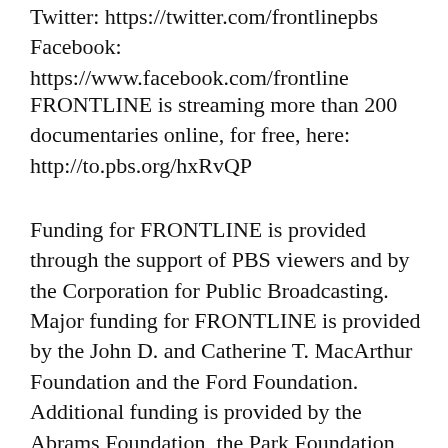Twitter: https://twitter.com/frontlinepbs
Facebook: https://www.facebook.com/frontline
FRONTLINE is streaming more than 200 documentaries online, for free, here: http://to.pbs.org/hxRvQP
Funding for FRONTLINE is provided through the support of PBS viewers and by the Corporation for Public Broadcasting. Major funding for FRONTLINE is provided by the John D. and Catherine T. MacArthur Foundation and the Ford Foundation. Additional funding is provided by the Abrams Foundation, the Park Foundation, The John and Helen Glessner Family Trust, and the FRONTLINE Journalism